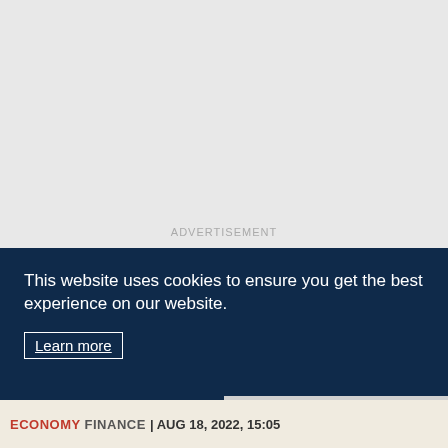[Figure (other): Advertisement placeholder area with light grey background and ADVERTISEMENT label]
This website uses cookies to ensure you get the best experience on our website.
Learn more
Decline
Allow cookies
ECONOMY FINANCE | AUG 18, 2022, 15:05